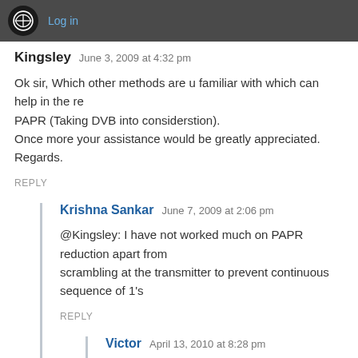Log in
Kingsley   June 3, 2009 at 4:32 pm
Ok sir, Which other methods are u familiar with which can help in the re PAPR (Taking DVB into considerstion).
Once more your assistance would be greatly appreciated.
Regards.
REPLY
Krishna Sankar   June 7, 2009 at 2:06 pm
@Kingsley: I have not worked much on PAPR reduction apart from scrambling at the transmitter to prevent continuous sequence of 1's
REPLY
Victor   April 13, 2010 at 8:28 pm
Hi Krishna, this site has been useful to me for a better understa problem on OFDM Systems..
Couldo please upload here a post for describing (pseudoleng...